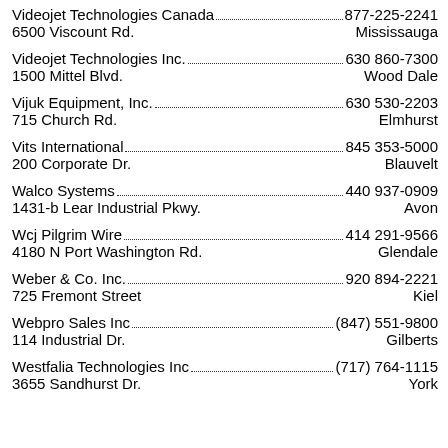Videojet Technologies Canada  877-225-2241  6500 Viscount Rd.  Mississauga
Videojet Technologies Inc.  630 860-7300  1500 Mittel Blvd.  Wood Dale
Vijuk Equipment, Inc.  630 530-2203  715 Church Rd.  Elmhurst
Vits International  845 353-5000  200 Corporate Dr.  Blauvelt
Walco Systems  440 937-0909  1431-b Lear Industrial Pkwy.  Avon
Wcj Pilgrim Wire  414 291-9566  4180 N Port Washington Rd.  Glendale
Weber & Co. Inc.  920 894-2221  725 Fremont Street  Kiel
Webpro Sales Inc  (847) 551-9800  114 Industrial Dr.  Gilberts
Westfalia Technologies Inc  (717) 764-1115  3655 Sandhurst Dr.  York